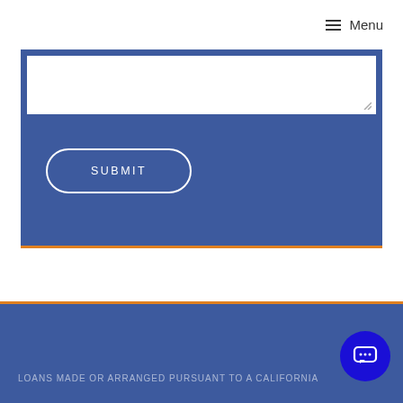≡ Menu
[Figure (screenshot): A blue form area with a white textarea input at the top (with a resize handle in the bottom-right corner) and a SUBMIT button outlined in white with rounded corners on the blue background. The form area has an orange bottom border.]
LOANS MADE OR ARRANGED PURSUANT TO A CALIFORNIA